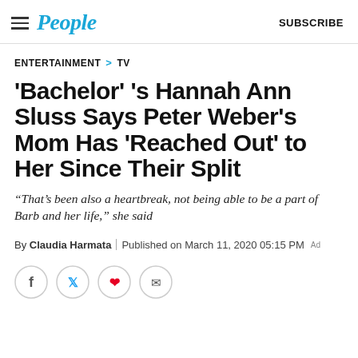People | SUBSCRIBE
ENTERTAINMENT > TV
'Bachelor' 's Hannah Ann Sluss Says Peter Weber's Mom Has 'Reached Out' to Her Since Their Split
“That’s been also a heartbreak, not being able to be a part of Barb and her life,” she said
By Claudia Harmata | Published on March 11, 2020 05:15 PM
[Figure (other): Social sharing buttons: Facebook, Twitter, Pinterest, Email]